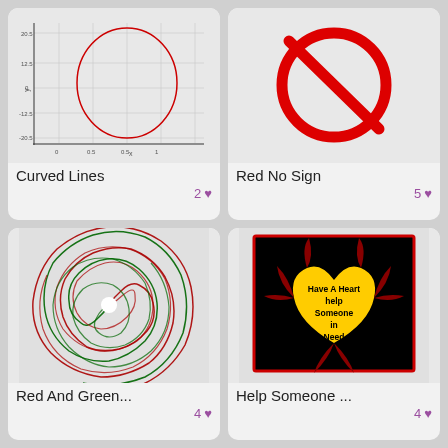[Figure (continuous-plot): Math plot showing a curved ellipse/oval on a coordinate grid with red curved lines, axes labeled x and y with tick values]
Curved Lines
2 ♥
[Figure (illustration): Red no sign / prohibition circle with diagonal slash through it on light gray background]
Red No Sign
5 ♥
[Figure (illustration): Red and green spiral pattern forming a swirl/vortex, alternating red and green radial lines spiraling inward to a white center]
Red And Green...
4 ♥
[Figure (illustration): Dark image with a yellow heart shape containing text 'Have A Heart help Someone in Need' surrounded by red flame-like patterns on black background]
Help Someone ...
4 ♥